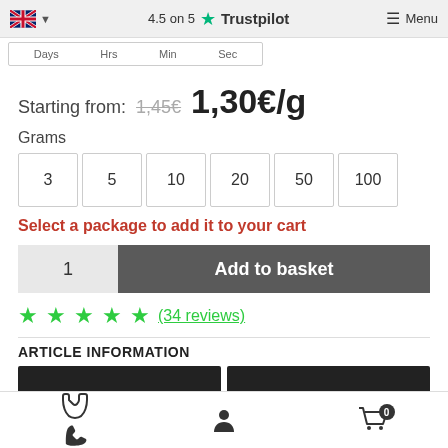4.5 on 5 Trustpilot  Menu
Days  Hrs  Min  Sec
Starting from: 1,45€  1,30€/g
Grams
3
5
10
20
50
100
Select a package to add it to your cart
1  Add to basket
★★★★★ (34 reviews)
ARTICLE INFORMATION
Phone  Account  Cart (0)